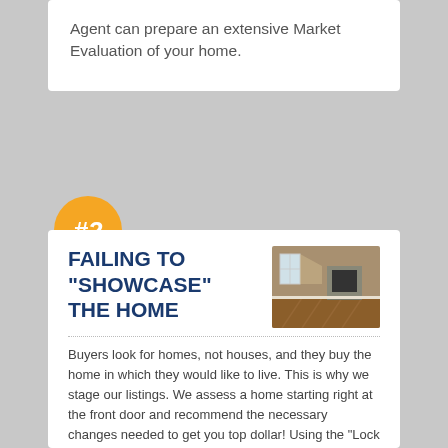Agent can prepare an extensive Market Evaluation of your home.
[Figure (illustration): Orange circular badge with '#2' text in white italic bold font]
FAILING TO "SHOWCASE" THE HOME
[Figure (photo): Interior photo of an empty living room with hardwood floors, windows with natural light, and a fireplace]
Buyers look for homes, not houses, and they buy the home in which they would like to live. This is why we stage our listings. We assess a home starting right at the front door and recommend the necessary changes needed to get you top dollar! Using the "Lock On" design scheme...